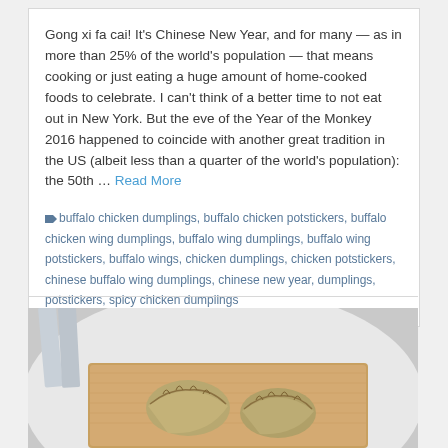Gong xi fa cai! It's Chinese New Year, and for many — as in more than 25% of the world's population — that means cooking or just eating a huge amount of home-cooked foods to celebrate. I can't think of a better time to not eat out in New York. But the eve of the Year of the Monkey 2016 happened to coincide with another great tradition in the US (albeit less than a quarter of the world's population): the 50th … Read More
buffalo chicken dumplings, buffalo chicken potstickers, buffalo chicken wing dumplings, buffalo wing dumplings, buffalo wing potstickers, buffalo wings, chicken dumplings, chicken potstickers, chinese buffalo wing dumplings, chinese new year, dumplings, potstickers, spicy chicken dumplings
[Figure (photo): Photo of dumplings/potstickers on a wooden tray plate, with a white plate and chopstick in the background]